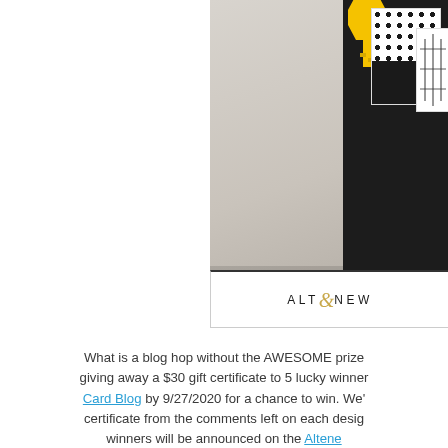[Figure (photo): A crafting/stationery photo showing cards and stamps with black, white, yellow and polka dot patterns, with an Altenew logo bar at the bottom of the image frame.]
What is a blog hop without the AWESOME prizes!! Altenew is giving away a $30 gift certificate to 5 lucky winners! Comment on the Altenew Card Blog by 9/27/2020 for a chance to win. We'll randomly pick the gift certificate from the comments left on each designer's blog. The winners will be announced on the Altenew